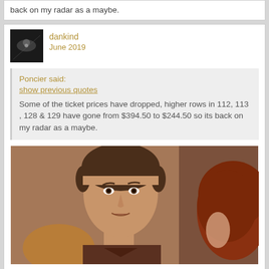back on my radar as a maybe.
dankind
June 2019
Poncier said:
show previous quotes
Some of the ticket prices have dropped, higher rows in 112, 113 , 128 & 129 have gone from $394.50 to $244.50 so its back on my radar as a maybe.
[Figure (photo): A man with brown hair in a bowl cut looking at a red-haired person, from a movie or TV show scene]